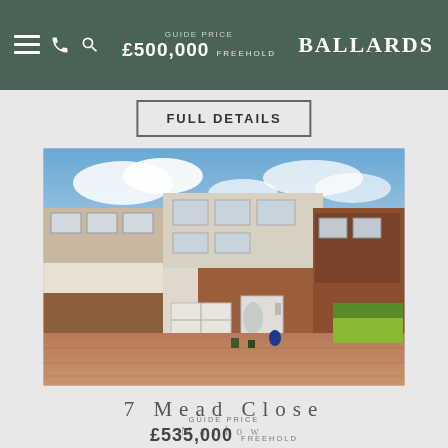GUIDE PRICE £500,000 FREEHOLD | BALLARDS
FULL DETAILS
[Figure (photo): Exterior photo of 7 Mead Close, Marlow — a semi-detached two-storey brick house with white rendered upper floor, garage, driveway, and garden area.]
7 Mead Close
Marlow
GUIDE PRICE £535,000 FREEHOLD